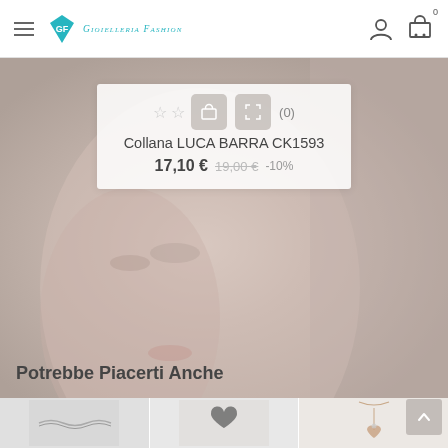[Figure (screenshot): Website header with hamburger menu, Gioielleria Fashion logo (teal diamond GF), user account icon, and shopping cart icon with badge showing 0]
[Figure (photo): Background hero image showing a woman's face/side profile, soft grey-pink tones, with a semi-transparent product card overlay showing cart and zoom buttons, star ratings (0), product name Collana LUCA BARRA CK1593, price 17,10 € discounted from 19,00 € at -10%]
Collana LUCA BARRA CK1593
17,10 €  19,00 €  -10%
Potrebbe Piacerti Anche
[Figure (photo): Thumbnail of a silver chain necklace on grey background]
[Figure (photo): Thumbnail of a black filigree heart charm/bead]
[Figure (photo): Thumbnail of a rose gold pendant necklace on light background]